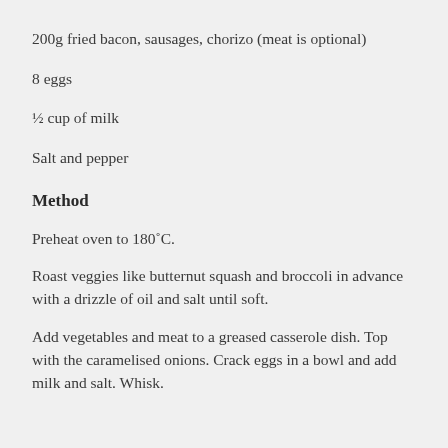200g fried bacon, sausages, chorizo (meat is optional)
8 eggs
½ cup of milk
Salt and pepper
Method
Preheat oven to 180˚C.
Roast veggies like butternut squash and broccoli in advance with a drizzle of oil and salt until soft.
Add vegetables and meat to a greased casserole dish. Top with the caramelised onions. Crack eggs in a bowl and add milk and salt. Whisk.